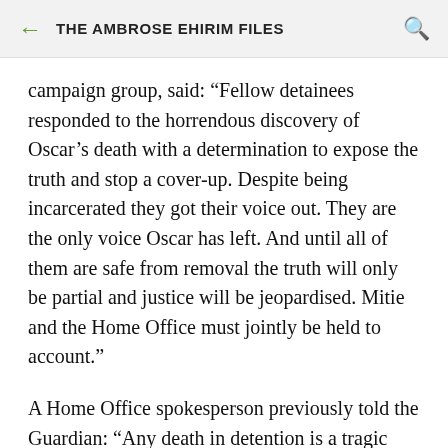THE AMBROSE EHIRIM FILES
campaign group, said: “Fellow detainees responded to the horrendous discovery of Oscar’s death with a determination to expose the truth and stop a cover-up. Despite being incarcerated they got their voice out. They are the only voice Oscar has left. And until all of them are safe from removal the truth will only be partial and justice will be jeopardised. Mitie and the Home Office must jointly be held to account.”
A Home Office spokesperson previously told the Guardian: “Any death in detention is a tragic